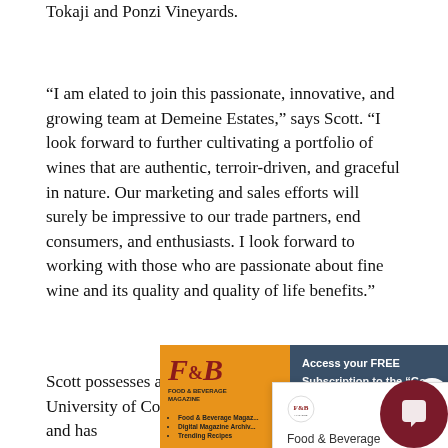Tokaji and Ponzi Vineyards.
“I am elated to join this passionate, innovative, and growing team at Demeine Estates,” says Scott. “I look forward to further cultivating a portfolio of wines that are authentic, terroir-driven, and graceful in nature. Our marketing and sales efforts will surely be impressive to our trade partners, end consumers, and enthusiasts. I look forward to working with those who are passionate about fine wine and its quality and quality of life benefits.”
Scott possesses a degree in accounting from the University of Colorado Leeds School of Business and has
[Figure (screenshot): Food & Beverage Magazine popup ad (orange background) with F&B logo, menu items (Food & Beverage Magazine, Digital Magazine Archive, Trending Recipes), FREE! Click button, and dark blue section with Access your FREE Subscription to the “Go- text and close X button]
[Figure (screenshot): White popup overlay with close X button containing text: Food & Beverage Magazine’s asset management team is happy to help with any questions, with dark red chat bubble icon at bottom right]